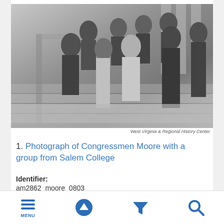[Figure (photo): Black and white photograph of Congressman Moore with a group from Salem College, standing on steps in front of a government building. Shows approximately 10-11 people including men in suits and a woman in a light dress.]
West Virginia & Regional History Center
1. Photograph of Congressmen Moore with a group from Salem College
Identifier:
am2862_moore_0803
MENU | up arrow | filter | search